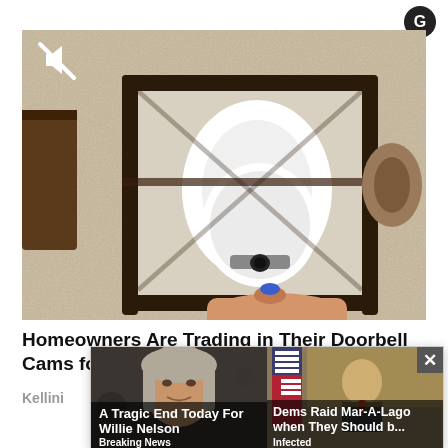[Figure (logo): Circular logo icon in top right corner]
[Figure (photo): A security camera being installed inside an outdoor lantern-style light fixture mounted on a stucco wall. A hand is pressing a blue button on the white spherical camera. There is a mute/speaker-off icon overlay in the top-left of the video frame.]
Homeowners Are Trading in Their Doorbell Cams for This
Kellini
[Figure (photo): Ad tile showing: Left tile – photo of Willie Nelson with text 'A Tragic End Today For Willie Nelson' and label 'Breaking News'. Right tile – photo of a man in a suit in an official room with text 'Dems Raid Mar-A-Lago when They Should b...' and label 'Infected'. Close button (×) at top right of overlay.]